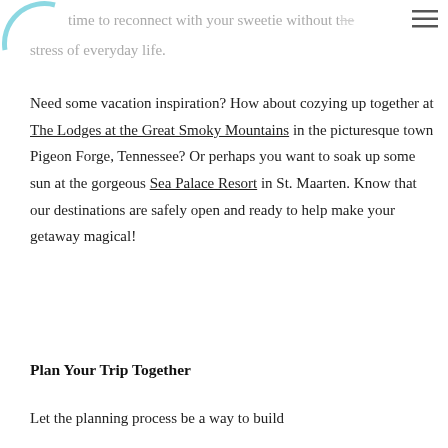time to reconnect with your sweetie without the stress of everyday life.
Need some vacation inspiration? How about cozying up together at The Lodges at the Great Smoky Mountains in the picturesque town Pigeon Forge, Tennessee? Or perhaps you want to soak up some sun at the gorgeous Sea Palace Resort in St. Maarten. Know that our destinations are safely open and ready to help make your getaway magical!
Plan Your Trip Together
Let the planning process be a way to build